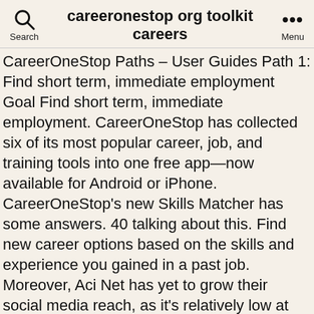careeronestop org toolkit careers
CareerOneStop Paths – User Guides Path 1: Find short term, immediate employment Goal Find short term, immediate employment. CareerOneStop has collected six of its most popular career, job, and training tools into one free app—now available for Android or iPhone. CareerOneStop's new Skills Matcher has some answers. 40 talking about this. Find new career options based on the skills and experience you gained in a past job. Moreover, Aci Net has yet to grow their social media reach, as it's relatively low at the moment: 23 LinkedIn shares, 11 StumbleUpon views and 9 Twitter mentions. Search for employer contact information nationwide, cost of living data, and call up state profiles with labor market conditions. Search for employer contact information nationwide, cost of living data, and call up state profiles with labor market conditions. mySkills myFuture automatically finds the career title that best matches the words you typed in on the first page, helps identify the